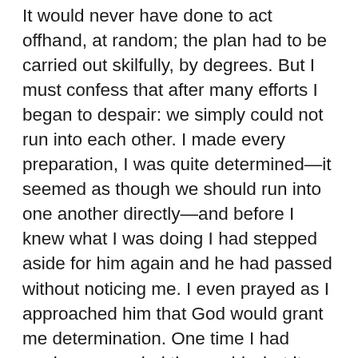It would never have done to act offhand, at random; the plan had to be carried out skilfully, by degrees. But I must confess that after many efforts I began to despair: we simply could not run into each other. I made every preparation, I was quite determined—it seemed as though we should run into one another directly—and before I knew what I was doing I had stepped aside for him again and he had passed without noticing me. I even prayed as I approached him that God would grant me determination. One time I had made up my mind thoroughly, but it ended in my stumbling and falling at his feet because at the very last instant when I was six inches from him my courage failed me. He very calmly stepped over me, while I flew on one side like a ball. That